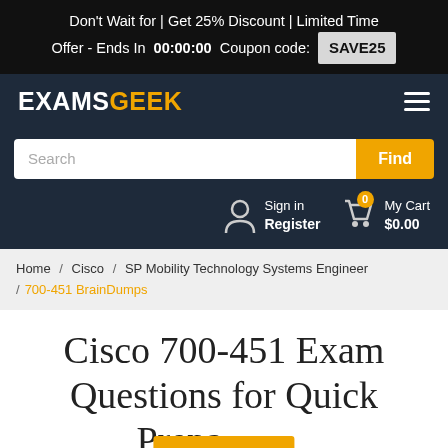Don't Wait for | Get 25% Discount | Limited Time Offer - Ends In 00:00:00 Coupon code: SAVE25
[Figure (logo): ExamsGeek logo in white and orange text on dark navy background with hamburger menu icon]
Search
Find
Sign in Register My Cart $0.00
Home / Cisco / SP Mobility Technology Systems Engineer / 700-451 BrainDumps
Cisco 700-451 Exam Questions for Quick Preparation
Chat Now